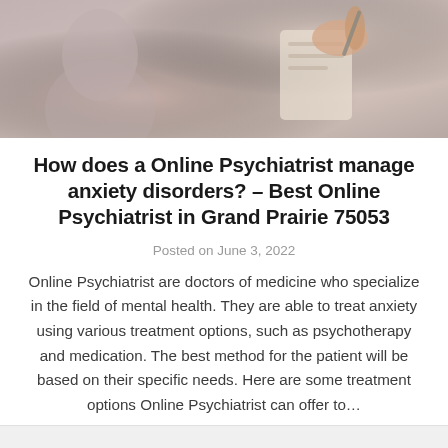[Figure (photo): Photo of a psychiatrist or medical professional taking notes, with a patient visible in the background (blurred). The image is cropped to show hands holding a notepad and pen.]
How does a Online Psychiatrist manage anxiety disorders? – Best Online Psychiatrist in Grand Prairie 75053
Posted on June 3, 2022
Online Psychiatrist are doctors of medicine who specialize in the field of mental health. They are able to treat anxiety using various treatment options, such as psychotherapy and medication. The best method for the patient will be based on their specific needs. Here are some treatment options Online Psychiatrist can offer to…